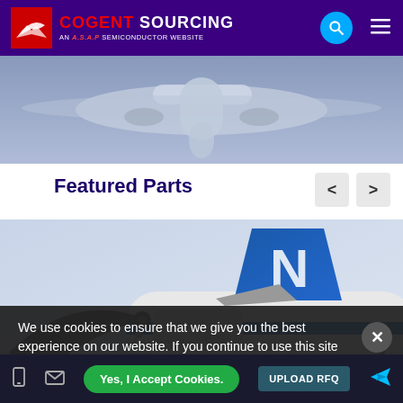COGENT SOURCING — AN A.S.A.P SEMICONDUCTOR WEBSITE
[Figure (photo): Partial view of an airplane in flight against a blue-grey sky, viewed from below/behind]
Featured Parts
[Figure (photo): Close-up of an airplane tail fin (blue with white logo) and propeller/engine assembly on the ground]
We use cookies to ensure that we give you the best experience on our website. If you continue to use this site we will assume that you are happy with it.
Horizontal &
Yes, I Accept Cookies.  UPLOAD RFQ